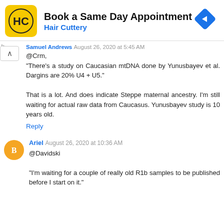[Figure (other): Hair Cuttery advertisement banner with logo and navigation icon. Text: Book a Same Day Appointment, Hair Cuttery]
Samuel Andrews August 26, 2020 at 5:45 AM
@Crm,
"There's a study on Caucasian mtDNA done by Yunusbayev et al. Dargins are 20% U4 + U5."

That is a lot. And does indicate Steppe maternal ancestry. I'm still waiting for actual raw data from Caucasus. Yunusbayev study is 10 years old.
Reply
Ariel August 26, 2020 at 10:36 AM
@Davidski

"I'm waiting for a couple of really old R1b samples to be published before I start on it."